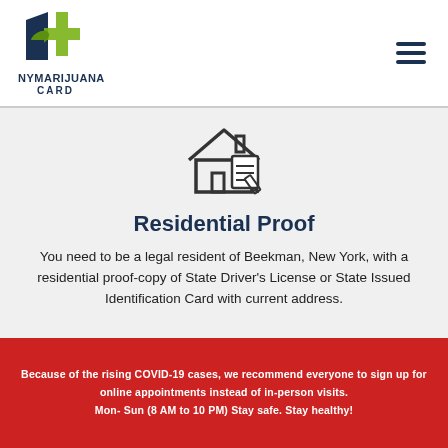[Figure (logo): NY Marijuana Card logo with green and dark blue leaf/cross design and hamburger menu icon]
[Figure (illustration): Line drawing icon of a house with a clipboard/document and pencil]
Residential Proof
You need to be a legal resident of Beekman, New York, with a residential proof-copy of State Driver's License or State Issued Identification Card with current address.
Because of the rising COVID-19 cases, we recommend everyone to sign up for online appointments instead of in-person visits. Mon- Sun (8 AM to 10 PM) Stay safe. Stay healthy!